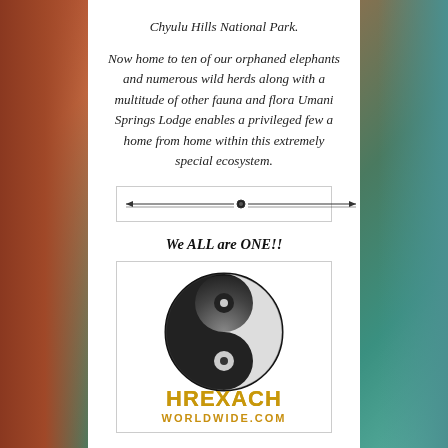Chyulu Hills National Park.
Now home to ten of our orphaned elephants and numerous wild herds along with a multitude of other fauna and flora Umani Springs Lodge enables a privileged few a home from home within this extremely special ecosystem.
[Figure (illustration): Decorative horizontal divider with ornamental line and central dot/circle element]
We ALL are ONE!!
[Figure (logo): Yin-yang symbol (dark textured coin style) with HREXACH logo text in gold font below it, and website text partially visible]